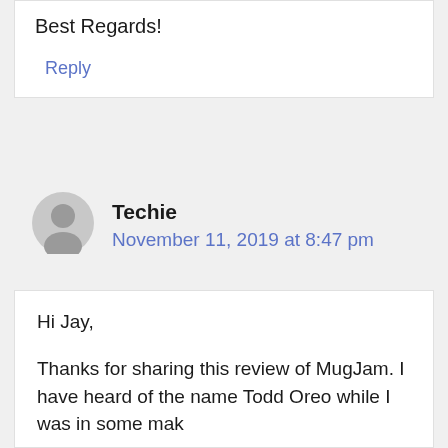Best Regards!
Reply
Techie
November 11, 2019 at 8:47 pm
Hi Jay,
Thanks for sharing this review of MugJam. I have heard of the name Todd Oreo while I was in some mak...